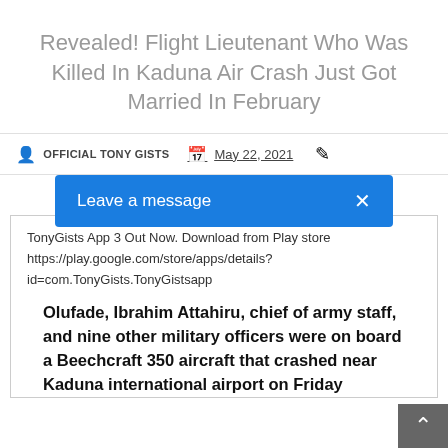Revealed! Flight Lieutenant Who Was Killed In Kaduna Air Crash Just Got Married In February
OFFICIAL TONY GISTS   May 22, 2021
Leave a message  ×
TonyGists App 3 Out Now. Download from Play store
https://play.google.com/store/apps/details?
id=com.TonyGists.TonyGistsapp
Olufade, Ibrahim Attahiru, chief of army staff, and nine other military officers were on board a Beechcraft 350 aircraft that crashed near Kaduna international airport on Friday